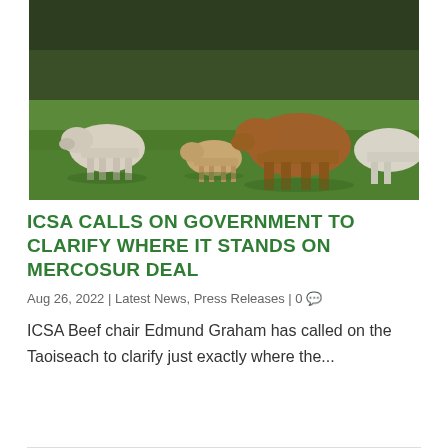[Figure (photo): Photograph of several cattle (cows and calves) standing on a green grass field with trees in the background. Mix of white/grey and brown cows visible.]
ICSA CALLS ON GOVERNMENT TO CLARIFY WHERE IT STANDS ON MERCOSUR DEAL
Aug 26, 2022 | Latest News, Press Releases | 0
ICSA Beef chair Edmund Graham has called on the Taoiseach to clarify just exactly where the...